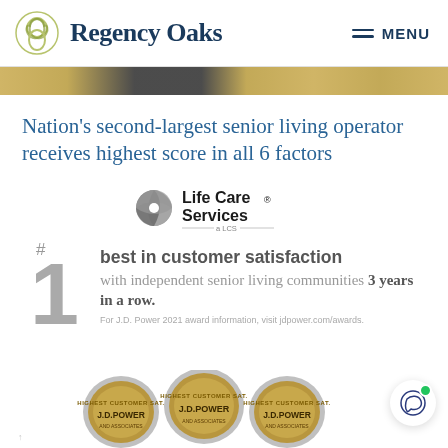Regency Oaks | MENU
Nation's second-largest senior living operator receives highest score in all 6 factors
[Figure (logo): Life Care Services logo with tagline 'a LCS company']
#1 best in customer satisfaction with independent senior living communities 3 years in a row.
For J.D. Power 2021 award information, visit jdpower.com/awards.
[Figure (photo): Three J.D. Power medal awards for highest customer satisfaction in independent senior living communities]